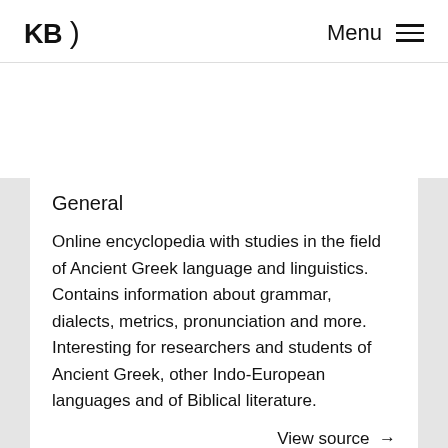KB Menu
General
Online encyclopedia with studies in the field of Ancient Greek language and linguistics. Contains information about grammar, dialects, metrics, pronunciation and more. Interesting for researchers and students of Ancient Greek, other Indo-European languages and of Biblical literature.
View source →
Toegang voor KB-leden